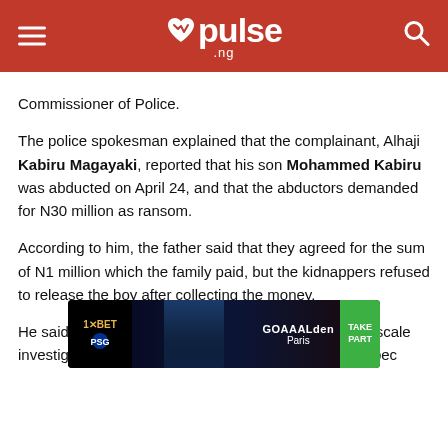pulse .ng
Commissioner of Police.
The police spokesman explained that the complainant, Alhaji Kabiru Magayaki, reported that his son Mohammed Kabiru was abducted on April 24, and that the abductors demanded for N30 million as ransom.
According to him, the father said that they agreed for the sum of N1 million which the family paid, but the kidnappers refused to release the boy after collecting the money.
He said that SIB operatives immediately went into full scale investigation and succeeded in arresting the four suspec...
[Figure (screenshot): 1xBET advertisement banner with GOAAALden Paris and TAKE PART button]